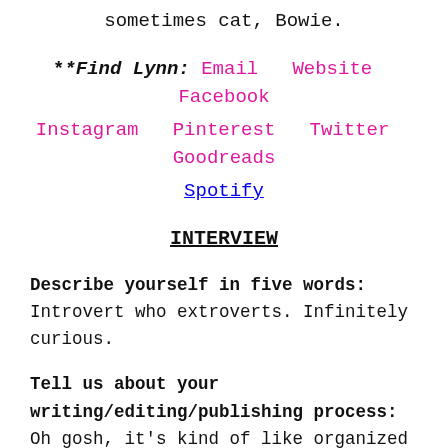sometimes cat, Bowie.
**Find Lynn: Email  Website  Facebook  Instagram  Pinterest  Twitter  Goodreads  Spotify
INTERVIEW
Describe yourself in five words: Introvert who extroverts. Infinitely curious.
Tell us about your writing/editing/publishing process: Oh gosh, it’s kind of like organized chaos! For example, in past interviews, I’ve said I’m somewhere between a pantser and a plotter. I plot the “big” moments, and then pants it from big